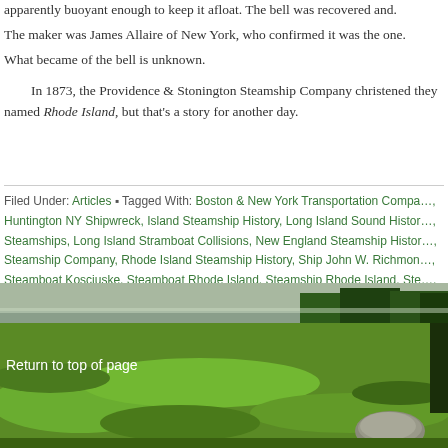apparently buoyant enough to keep it afloat. The bell was recovered and. The maker was James Allaire of New York, who confirmed it was the one. What became of the bell is unknown.
In 1873, the Providence & Stonington Steamship Company christened they named Rhode Island, but that's a story for another day.
Filed Under: Articles • Tagged With: Boston & New York Transportation Company, Huntington NY Shipwreck, Island Steamship History, Long Island Sound History, Steamships, Long Island Stramboat Collisions, New England Steamship History, Steamship Company, Rhode Island Steamship History, Ship John W. Richmond, Steamboat Kosciuske, Steamboat Rhode Island, Steamship Rhode Island, Steamship Rhode Island, Ship Elizabeth
[Figure (photo): Outdoor grassy landscape photo with trees in background and what appears to be a stone or marker in the lower right. Green grass field with trees visible along a waterway or road in the background.]
Return to top of page